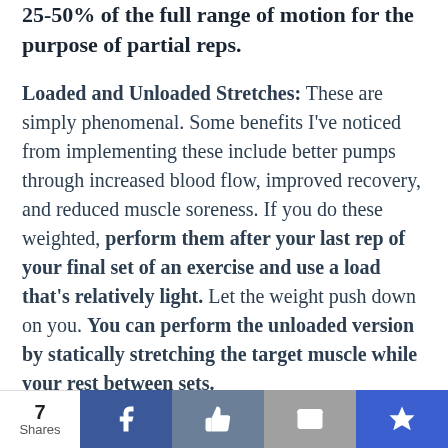25-50% of the full range of motion for the purpose of partial reps.
Loaded and Unloaded Stretches: These are simply phenomenal. Some benefits I've noticed from implementing these include better pumps through increased blood flow, improved recovery, and reduced muscle soreness. If you do these weighted, perform them after your last rep of your final set of an exercise and use a load that's relatively light. Let the weight push down on you. You can perform the unloaded version by statically stretching the target muscle while your rest between sets.
7 Shares [Facebook] [Like] [Email] [Crown]